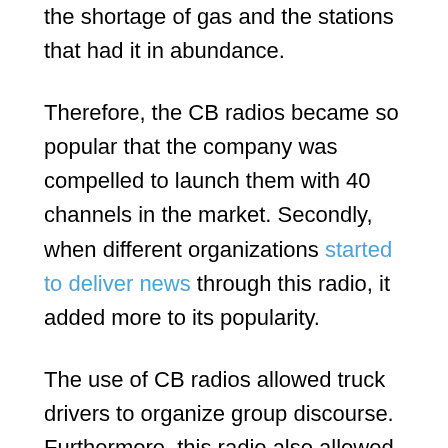the shortage of gas and the stations that had it in abundance.
Therefore, the CB radios became so popular that the company was compelled to launch them with 40 channels in the market. Secondly, when different organizations started to deliver news through this radio, it added more to its popularity.
The use of CB radios allowed truck drivers to organize group discourse. Furthermore, this radio also allowed them to come together and protest at different places against the high prices of gasoline. For your information, CB radio gained much fame when they were adopted in the movies as well such as Smoke and the Bandit.